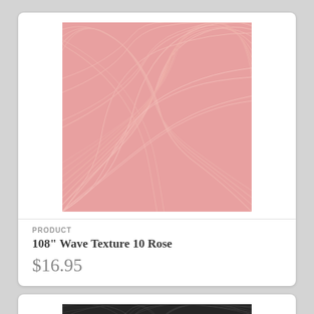[Figure (photo): Rose/pink colored wave texture fabric pattern with flowing swirl lines]
PRODUCT
108" Wave Texture 10 Rose
$16.95
[Figure (photo): Dark black/charcoal colored wave texture fabric pattern with flowing swirl lines]